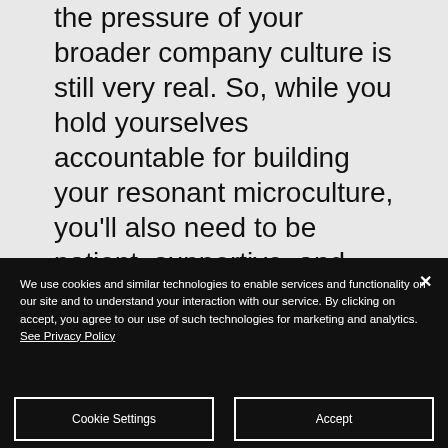the pressure of your broader company culture is still very real. So, while you hold yourselves accountable for building your resonant microculture, you'll also need to be patient, supportive, and ready to forgive yourself and others. It's all too easy to blame a dysfunctional company culture for our misbehavior. But you don't have to be subject to the toxicity that
We use cookies and similar technologies to enable services and functionality on our site and to understand your interaction with our service. By clicking on accept, you agree to our use of such technologies for marketing and analytics. See Privacy Policy
Cookie Settings
Accept